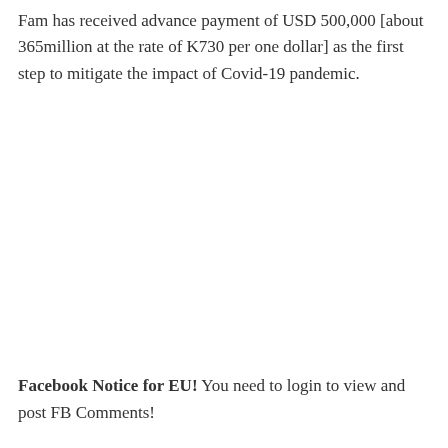Fam has received advance payment of USD 500,000 [about 365million at the rate of K730 per one dollar] as the first step to mitigate the impact of Covid-19 pandemic.
Facebook Notice for EU! You need to login to view and post FB Comments!